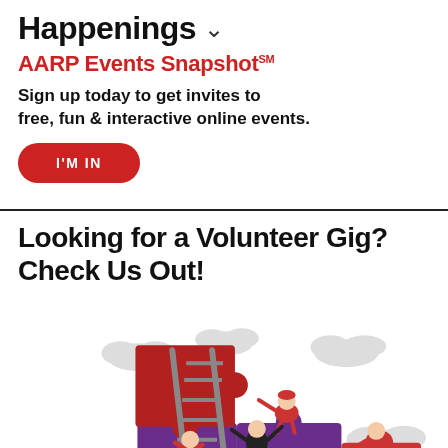Happenings
AARP Events Snapshot℠
Sign up today to get invites to free, fun & interactive online events.
I'M IN
Looking for a Volunteer Gig? Check Us Out!
[Figure (illustration): Illustration of people working together to assemble puzzle pieces, with gray clouds in the background. People dressed in red are climbing a ladder and handling large red and purple puzzle pieces.]